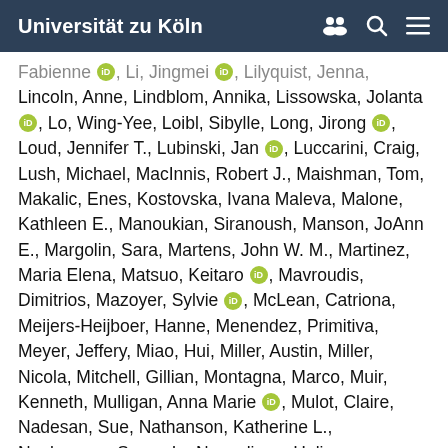Universität zu Köln
Fabienne [orcid], Li, Jingmei [orcid], Lilyquist, Jenna, Lincoln, Anne, Lindblom, Annika, Lissowska, Jolanta [orcid], Lo, Wing-Yee, Loibl, Sibylle, Long, Jirong [orcid], Loud, Jennifer T., Lubinski, Jan [orcid], Luccarini, Craig, Lush, Michael, MacInnis, Robert J., Maishman, Tom, Makalic, Enes, Kostovska, Ivana Maleva, Malone, Kathleen E., Manoukian, Siranoush, Manson, JoAnn E., Margolin, Sara, Martens, John W. M., Martinez, Maria Elena, Matsuo, Keitaro [orcid], Mavroudis, Dimitrios, Mazoyer, Sylvie [orcid], McLean, Catriona, Meijers-Heijboer, Hanne, Menendez, Primitiva, Meyer, Jeffery, Miao, Hui, Miller, Austin, Miller, Nicola, Mitchell, Gillian, Montagna, Marco, Muir, Kenneth, Mulligan, Anna Marie [orcid], Mulot, Claire, Nadesan, Sue, Nathanson, Katherine L., Neubausen, Susan L., Nevanlinna, Heli